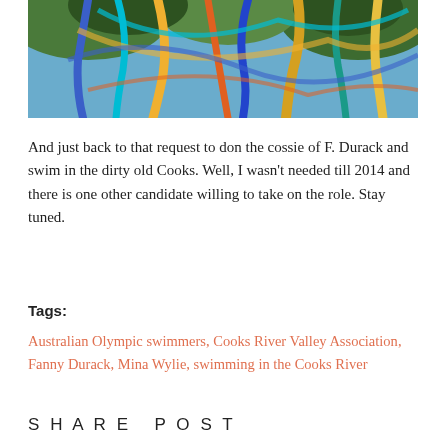[Figure (photo): Colorful ribbons or streamers — blue, cyan, gold, orange, red — hanging with green trees visible in the background under sunlight.]
And just back to that request to don the cossie of F. Durack and swim in the dirty old Cooks. Well, I wasn't needed till 2014 and there is one other candidate willing to take on the role. Stay tuned.
Tags:
Australian Olympic swimmers, Cooks River Valley Association, Fanny Durack, Mina Wylie, swimming in the Cooks River
SHARE POST